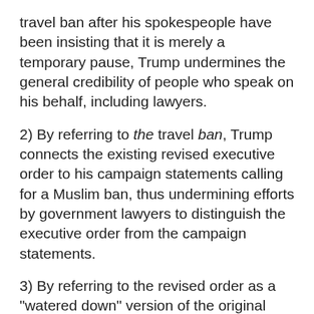travel ban after his spokespeople have been insisting that it is merely a temporary pause, Trump undermines the general credibility of people who speak on his behalf, including lawyers.
2) By referring to the travel ban, Trump connects the existing revised executive order to his campaign statements calling for a Muslim ban, thus undermining efforts by government lawyers to distinguish the executive order from the campaign statements.
3) By referring to the revised order as a "watered down" version of the original order, he further draws that connection, indicating that rather than the result of study and analysis by national security experts, the revised version was simply something concocted to get through the courts. Indeed, he says that much in the tweets and in this